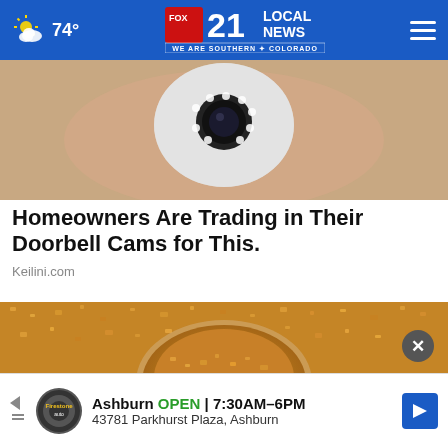74° FOX 21 LOCAL NEWS — WE ARE SOUTHERN COLORADO
[Figure (photo): Hand holding a small white security camera with multiple LED lights around the lens]
Homeowners Are Trading in Their Doorbell Cams for This.
Keilini.com
[Figure (photo): Close-up of raw brown sugar crystals, with a glass bowl or spoon holding more sugar in the center]
Ashburn OPEN | 7:30AM–6PM 43781 Parkhurst Plaza, Ashburn